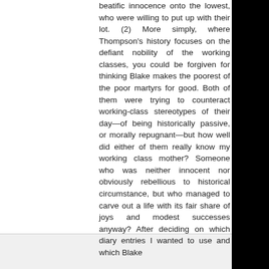beatific innocence onto the lowest, who were willing to put up with their lot. (2) More simply, where Thompson's history focuses on the defiant nobility of the working classes, you could be forgiven for thinking Blake makes the poorest of the poor martyrs for good. Both of them were trying to counteract working-class stereotypes of their day—of being historically passive, or morally repugnant—but how well did either of them really know my working class mother? Someone who was neither innocent nor obviously rebellious to historical circumstance, but who managed to carve out a life with its fair share of joys and modest successes anyway? After deciding on which diary entries I wanted to use and which Blake